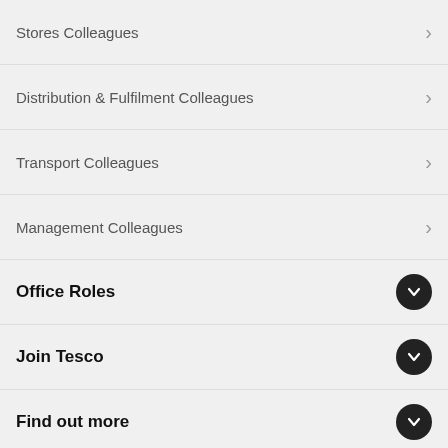Stores Colleagues
Distribution & Fulfilment Colleagues
Transport Colleagues
Management Colleagues
Office Roles
Join Tesco
Find out more
Follow us